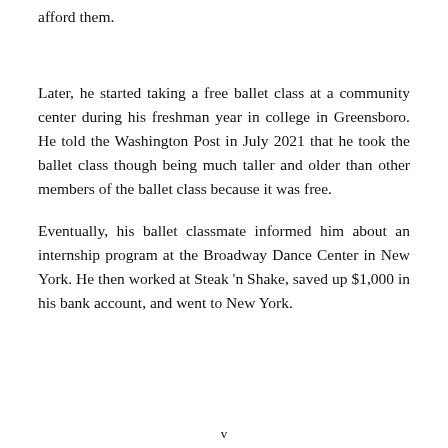afford them.
Later, he started taking a free ballet class at a community center during his freshman year in college in Greensboro. He told the Washington Post in July 2021 that he took the ballet class though being much taller and older than other members of the ballet class because it was free.
Eventually, his ballet classmate informed him about an internship program at the Broadway Dance Center in New York. He then worked at Steak 'n Shake, saved up $1,000 in his bank account, and went to New York.
v